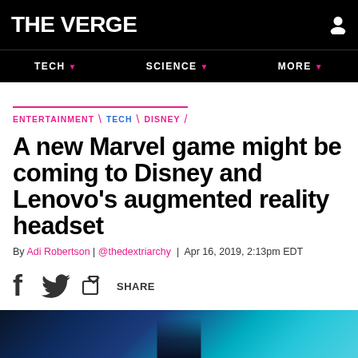THE VERGE
TECH  SCIENCE  MORE
ENTERTAINMENT \ TECH \ DISNEY
A new Marvel game might be coming to Disney and Lenovo's augmented reality headset
By Adi Robertson | @thedextriarchy | Apr 16, 2019, 2:13pm EDT
f [twitter] SHARE
[Figure (photo): Dark blue and teal colored background image, partially visible, appears to be a technology product or scene]